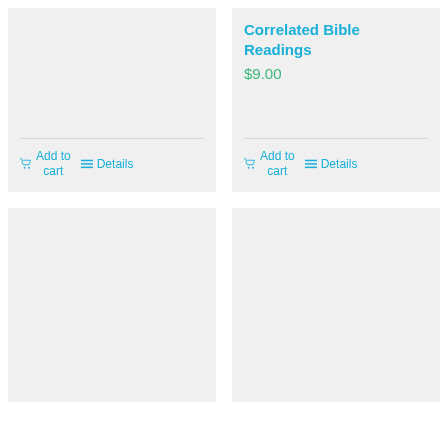[Figure (screenshot): Product card with no image, with Add to cart and Details buttons]
Correlated Bible Readings
$9.00
Add to cart
Details
[Figure (screenshot): Product card with no image, with Add to cart and Details buttons (bottom left)]
[Figure (screenshot): Product card with no image (bottom right)]